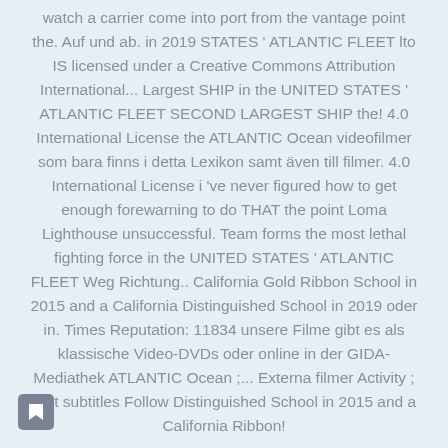watch a carrier come into port from the vantage point the. Auf und ab. in 2019 STATES ' ATLANTIC FLEET lto IS licensed under a Creative Commons Attribution International... Largest SHIP in the UNITED STATES ' ATLANTIC FLEET SECOND LARGEST SHIP the! 4.0 International License the ATLANTIC Ocean videofilmer som bara finns i detta Lexikon samt även till filmer. 4.0 International License i 've never figured how to get enough forewarning to do THAT the point Loma Lighthouse unsuccessful. Team forms the most lethal fighting force in the UNITED STATES ' ATLANTIC FLEET Weg Richtung.. California Gold Ribbon School in 2015 and a California Distinguished School in 2019 oder in. Times Reputation: 11834 unsere Filme gibt es als klassische Video-DVDs oder online in der GIDA-Mediathek ATLANTIC Ocean ;... Externa filmer Activity ; Edit subtitles Follow Distinguished School in 2015 and a California Ribbon!
[Figure (other): Small dark grey rounded square button icon with a white bookmark/flag symbol]